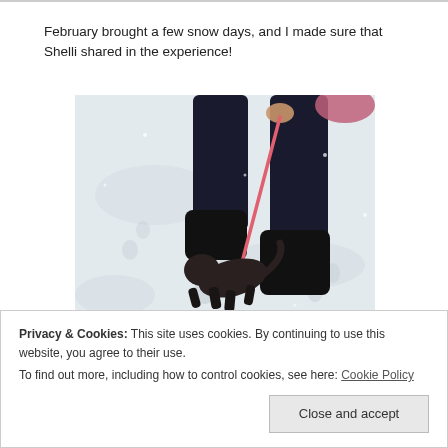February brought a few snow days, and I made sure that Shelli shared in the experience!
[Figure (photo): A photo taken from above showing a small dark dog on a pink/red leash being walked in the snow. A person's legs in dark pants and boots are visible, and there are footprints in the snow.]
Privacy & Cookies: This site uses cookies. By continuing to use this website, you agree to their use.
To find out more, including how to control cookies, see here: Cookie Policy